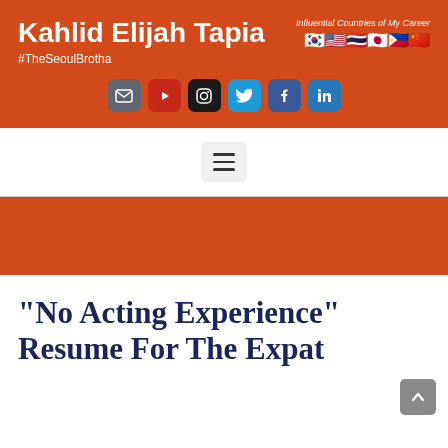Kahlid Elijah Tapia
#TheSeoulBrotha
Influential Countries of My Career
[Figure (infographic): Social media icons row: email/blog (gray), YouTube (red), Instagram (dark), Twitter (blue), Facebook (blue), LinkedIn (blue)]
[Figure (other): Hamburger menu button (three horizontal lines) on light gray background]
"No Acting Experience" Resume For The Expat